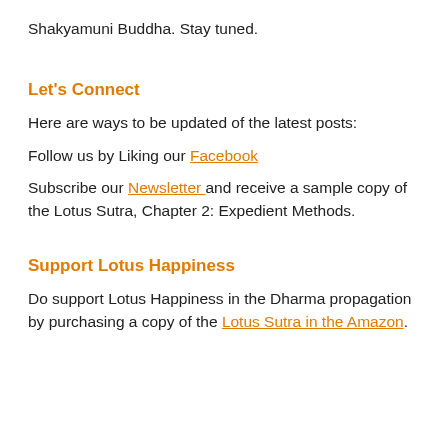Shakyamuni Buddha. Stay tuned.
Let's Connect
Here are ways to be updated of the latest posts:
Follow us by Liking our Facebook
Subscribe our Newsletter and receive a sample copy of the Lotus Sutra, Chapter 2: Expedient Methods.
Support Lotus Happiness
Do support Lotus Happiness in the Dharma propagation by purchasing a copy of the Lotus Sutra in the Amazon.